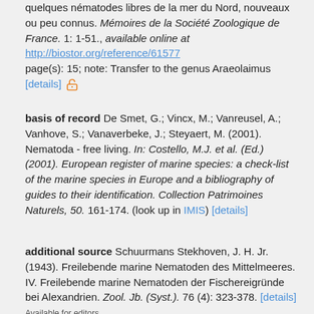quelques nématodes libres de la mer du Nord, nouveaux ou peu connus. Mémoires de la Société Zoologique de France. 1: 1-51., available online at http://biostor.org/reference/61577 page(s): 15; note: Transfer to the genus Araeolaimus [details]
basis of record De Smet, G.; Vincx, M.; Vanreusel, A.; Vanhove, S.; Vanaverbeke, J.; Steyaert, M. (2001). Nematoda - free living. In: Costello, M.J. et al. (Ed.) (2001). European register of marine species: a check-list of the marine species in Europe and a bibliography of guides to their identification. Collection Patrimoines Naturels, 50. 161-174. (look up in IMIS) [details]
additional source Schuurmans Stekhoven, J. H. Jr. (1943). Freilebende marine Nematoden des Mittelmeeres. IV. Freilebende marine Nematoden der Fischereigründe bei Alexandrien. Zool. Jb. (Syst.). 76 (4): 323-378. [details] Available for editors [request]